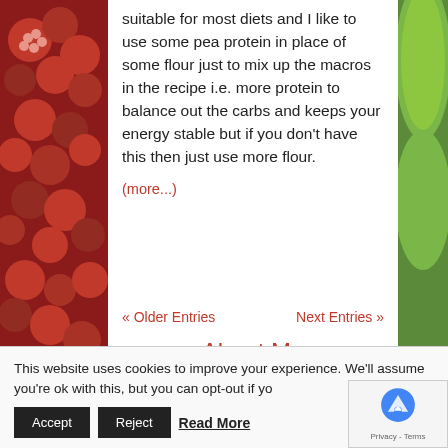suitable for most diets and I like to use some pea protein in place of some flour just to mix up the macros in the recipe i.e. more protein to balance out the carbs and keeps your energy stable but if you don't have this then just use more flour.
(more...)
« Older Entries
Next Entries »
About Me
[Figure (photo): Circular profile photo of a woman wearing sunglasses and a white hat]
I'm Siobhan. Thanks to my Masters in food security I love learning about what
This website uses cookies to improve your experience. We'll assume you're ok with this, but you can opt-out if yo
Accept
Reject
Read More